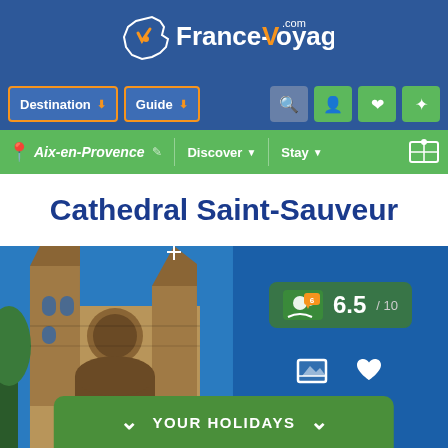[Figure (logo): France-Voyage.com logo with France map outline and orange checkmark]
Destination | Guide | Search | User | Favorites | Share
Aix-en-Provence | Discover | Stay | Map
Cathedral Saint-Sauveur
[Figure (photo): Photo of Cathedral Saint-Sauveur in Aix-en-Provence with stone towers against blue sky. Rating badge showing 6.5/10 with 6 reviews. YOUR HOLIDAYS button at bottom.]